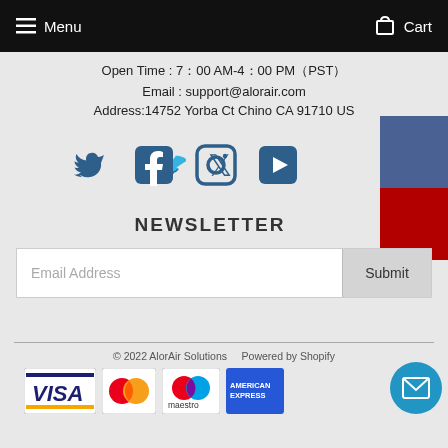Menu  Cart
Open Time : 7∶00 AM-4∶00 PM（PST）
Email : support@alorair.com
Address:14752 Yorba Ct Chino CA 91710 US
[Figure (infographic): Social media icons: Twitter, Facebook, Instagram, YouTube]
NEWSLETTER
Email Address  Submit
© 2022 AlorAir Solutions    Powered by Shopify
[Figure (infographic): Payment method logos: Visa, Mastercard, Maestro, American Express]